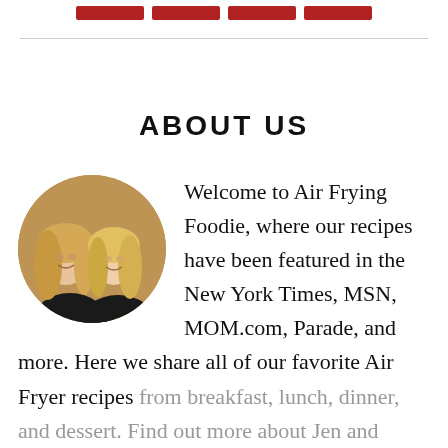[Figure (other): Row of four dark red/burgundy rectangular buttons at top of page]
ABOUT US
[Figure (photo): Circular portrait photo of two blonde women smiling, wearing dark clothing, with a warm outdoor background]
Welcome to Air Frying Foodie, where our recipes have been featured in the New York Times, MSN, MOM.com, Parade, and more. Here we share all of our favorite Air Fryer recipes from breakfast, lunch, dinner, and dessert. Find out more about Jen and Becky in the